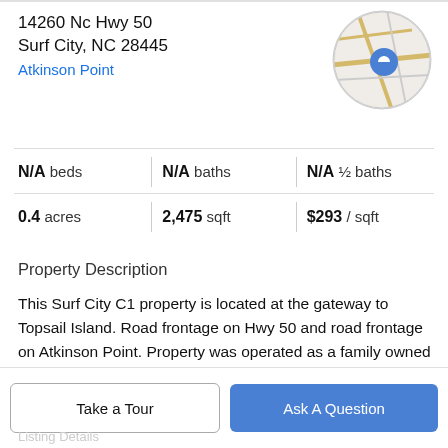14260 Nc Hwy 50
Surf City, NC 28445
Atkinson Point
[Figure (map): Circular map thumbnail showing street map with a blue location pin marker]
| N/A beds | N/A baths | N/A ½ baths |
| 0.4 acres | 2,475 sqft | $293 / sqft |
Property Description
This Surf City C1 property is located at the gateway to Topsail Island. Road frontage on Hwy 50 and road frontage on Atkinson Point. Property was operated as a family owned restaurant for many years. Listing agent is daughter of owner.
Take a Tour
Ask A Question
Listing Details